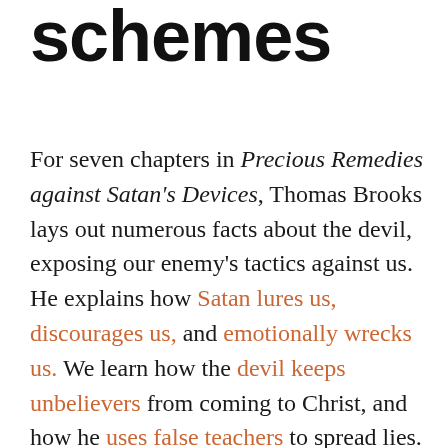schemes
For seven chapters in Precious Remedies against Satan’s Devices, Thomas Brooks lays out numerous facts about the devil, exposing our enemy’s tactics against us. He explains how Satan lures us, discourages us, and emotionally wrecks us. We learn how the devil keeps unbelievers from coming to Christ, and how he uses false teachers to spread lies.